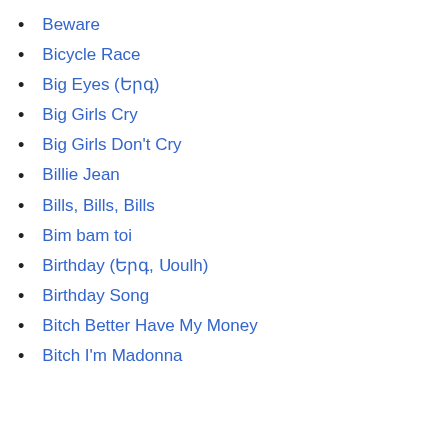Beware
Bicycle Race
Big Eyes (Երգ)
Big Girls Cry
Big Girls Don't Cry
Billie Jean
Bills, Bills, Bills
Bim bam toi
Birthday (Երգ, Սոulfh)
Birthday Song
Bitch Better Have My Money
Bitch I'm Madonna